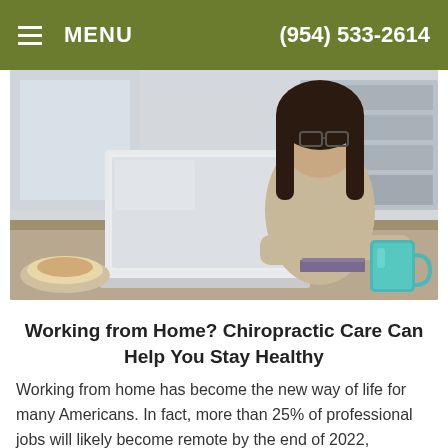MENU   (954) 533-2614
[Figure (photo): Woman with glasses sitting at a desk working on a laptop computer, with a teal/turquoise mug on the right and food on the left, in a home office setting.]
Working from Home? Chiropractic Care Can Help You Stay Healthy
Working from home has become the new way of life for many Americans. In fact, more than 25% of professional jobs will likely become remote by the end of 2022, according to job search site Ladders. While remote work offers many benefits, it can increase your risk of joint and muscle pain. Have